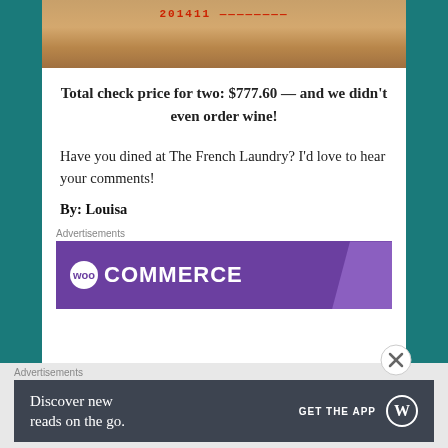[Figure (photo): Top portion of a restaurant check/receipt with printed numbers in red, on a tan/brown surface]
Total check price for two: $777.60 — and we didn't even order wine!
Have you dined at The French Laundry? I'd love to hear your comments!
By: Louisa
Advertisements
[Figure (screenshot): WooCommerce advertisement banner with purple background and white WooCommerce logo text]
Advertisements
[Figure (screenshot): WordPress app advertisement: Discover new reads on the go. GET THE APP with WordPress logo]